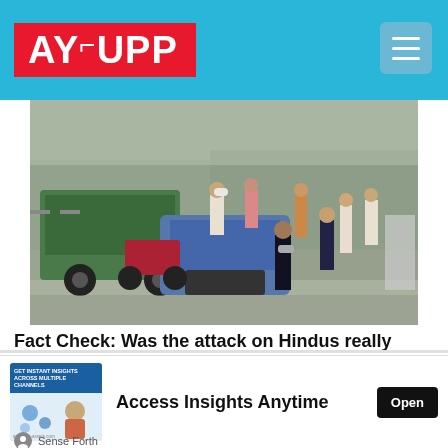AYUPP
[Figure (photo): Street scene showing a crowd of people, vehicles including a motorcycle and a vehicle with a blue cover, taken from a video screenshot]
Fact Check: Was the attack on Hindus really done in Bangladesh? Know the truth of the viral video?
[Figure (screenshot): Advertisement banner showing 'Access Insights Anytime' with an Open button, and a small image on the left with text 'GET INSTANT INSIGHTS ACROSS MULTIPLE CHANNELS']
Sense Forth